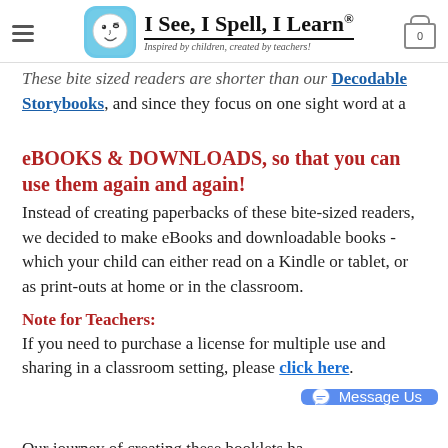I See, I Spell, I Learn® — Inspired by children, created by teachers!
These bite sized readers are shorter than our Decodable Storybooks, and since they focus on one sight word at a time, they are the perfect choice for your beginning reader.
eBOOKS & DOWNLOADS, so that you can use them again and again!
Instead of creating paperbacks of these bite-sized readers, we decided to make eBooks and downloadable books - which your child can either read on a Kindle or tablet, or as print-outs at home or in the classroom.
Note for Teachers:
If you need to purchase a license for multiple use and sharing in a classroom setting, please click here.
Our journey of creating these booklets ha... the response we have received from moms and teachers